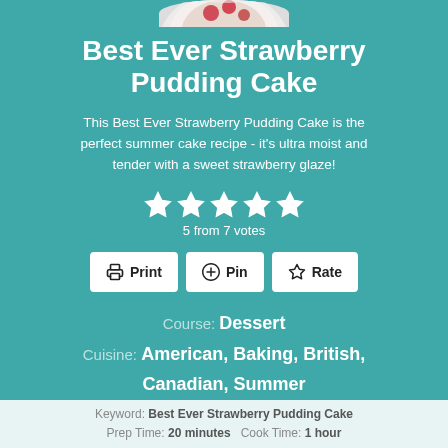[Figure (photo): Partial top view of a strawberry pudding cake on a plate, cut off at the top of the teal card.]
Best Ever Strawberry Pudding Cake
This Best Ever Strawberry Pudding Cake is the perfect summer cake recipe - it's ultra moist and tender with a sweet strawberry glaze!
5 from 7 votes
Print  Pin  Rate
Course: Dessert
Cuisine: American, Baking, British, Canadian, Summer
Keyword: Best Ever Strawberry Pudding Cake  Prep Time: 20 minutes   Cook Time: 1 hour